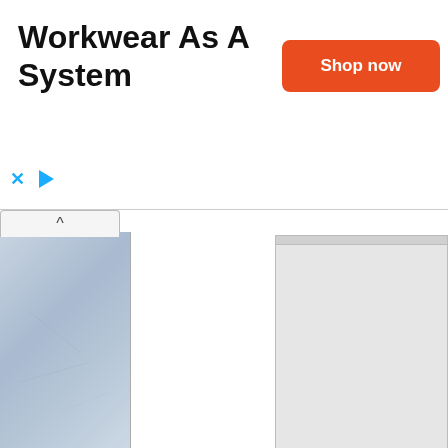[Figure (screenshot): Advertisement banner for Truewerk workwear with title 'Workwear As A System', an orange 'Shop now' button, and the TRUEWERK brand logo]
[Figure (screenshot): Left panel showing a light blue-grey textured paper/stone surface image]
[Figure (screenshot): Upper right panel showing a light grey UI screenshot region]
The Regtool program is what you send to the MorphOS team. Once to you and once placed in the right system when initially installed.
[Figure (screenshot): Bottom right MorphOS window screenshot with blue title bar and grey content area]